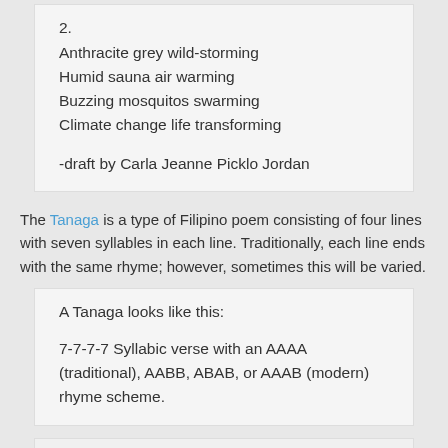2.
Anthracite grey wild-storming
Humid sauna air warming
Buzzing mosquitos swarming
Climate change life transforming

-draft by Carla Jeanne Picklo Jordan
The Tanaga is a type of Filipino poem consisting of four lines with seven syllables in each line. Traditionally, each line ends with the same rhyme; however, sometimes this will be varied.
A Tanaga looks like this:

7-7-7-7 Syllabic verse with an AAAA (traditional), AABB, ABAB, or AAAB (modern) rhyme scheme.
July 11, 2021 by cjpjordan   Posted in a view inside, ecology, human nature considered, nature